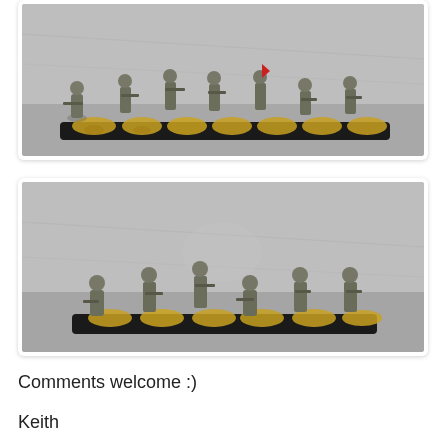[Figure (photo): Photo of seven painted metal military miniature figures mounted on a long black rectangular base with yellow and brown sandy basing, photographed against a grey background.]
[Figure (photo): Photo of six painted metal military miniature figures mounted on a long black rectangular base with yellow sandy basing, photographed against a grey background.]
Comments welcome :)
Keith